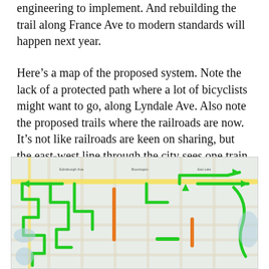engineering to implement. And rebuilding the trail along France Ave to modern standards will happen next year.
Here’s a map of the proposed system. Note the lack of a protected path where a lot of bicyclists might want to go, along Lyndale Ave. Also note the proposed trails where the railroads are now. It’s not like railroads are keen on sharing, but the east-west line through the city sees one train of a couple of cars a day so even as a short-line railroad one questions how long it will be financially viable.
[Figure (map): Map of proposed bicycle trail system showing green routes overlaid on a street grid map of a city, with orange segments indicating certain trail sections and yellow highlighted roads.]